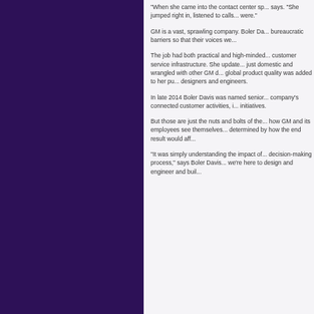“When she came into the contact center sp... says. “She jumped right in, listened to calls... were.”
GM is a vast, sprawling company. Boler Da... bureaucratic barriers so that their voices we...
The job had both practical and high-minded... customer service infrastructure. She update... just domestic and wrangled with other GM d... global product quality was added to her pu... designers and engineers.
In late 2014 Boler Davis was named senior... company’s connected customer activities, i... initiatives.
But those are just the nuts and bolts of the... how GM and its employees see themselves... determined by how the end result would aff...
“It was simply understanding the impact of... decision-making process,” says Boler Davis... we’re here to design and engineer and buil...